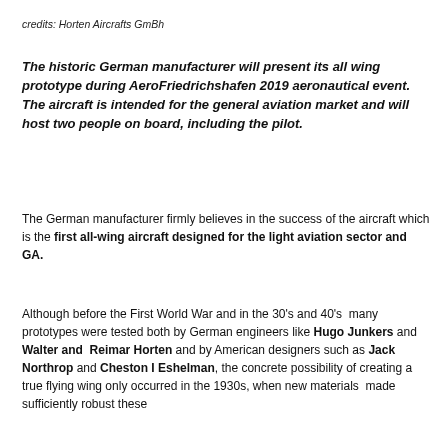credits: Horten Aircrafts GmBh
The historic German manufacturer will present its all wing prototype during AeroFriedrichshafen 2019 aeronautical event. The aircraft is intended for the general aviation market and will host two people on board, including the pilot.
The German manufacturer firmly believes in the success of the aircraft which is the first all-wing aircraft designed for the light aviation sector and GA.
Although before the First World War and in the 30's and 40's  many prototypes were tested both by German engineers like Hugo Junkers and Walter and  Reimar Horten and by American designers such as Jack Northrop and Cheston I Eshelman, the concrete possibility of creating a true flying wing only occurred in the 1930s, when new materials  made sufficiently robust these